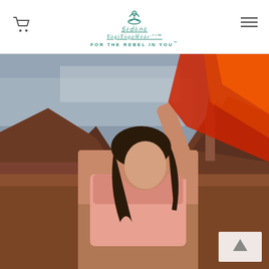Sedona YogiYogaWear.com FOR THE REBEL IN YOU™
[Figure (photo): Woman in pink yoga top dancing/stretching outdoors in red rock canyon landscape, holding red and orange fabric raised above her head. Red rock formations and overcast sky in background. Sedona-style desert scenery.]